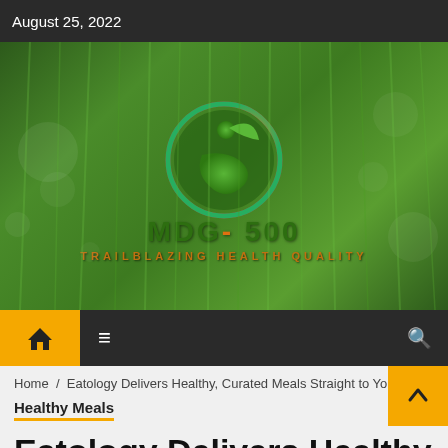August 25, 2022
[Figure (logo): MDG-500 logo with green circular emblem featuring a person and leaf, on a green bokeh grass background. Text reads: MDG-500 TRAILBLAZING HEALTH QUALITY]
[Figure (screenshot): Website navigation bar with yellow home button, hamburger menu icon, and search icon on dark background]
Home / Eatology Delivers Healthy, Curated Meals Straight to You
Healthy Meals
Eatology Delivers Healthy